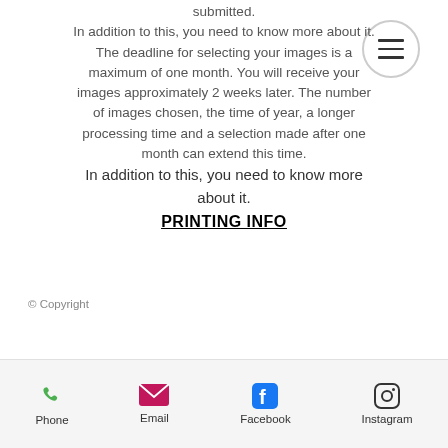submitted. In addition to this, you need to know more about it. The deadline for selecting your images is a maximum of one month. You will receive your images approximately 2 weeks later. The number of images chosen, the time of year, a longer processing time and a selection made after one month can extend this time. In addition to this, you need to know more about it.
PRINTING INFO
[Figure (illustration): Hamburger menu icon — circle with three horizontal lines]
© Copyright
Phone  Email  Facebook  Instagram